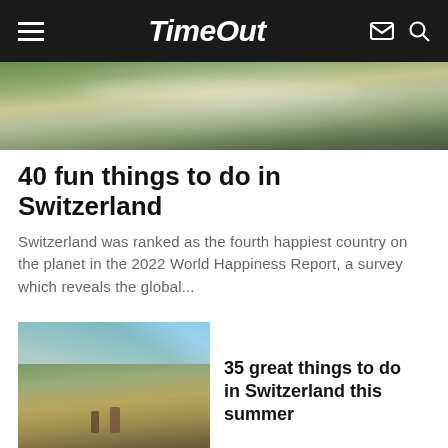Time Out
[Figure (photo): Aerial/wide view of a rocky stream or waterfall in a lush green alpine landscape with mossy rocks and flowing water]
40 fun things to do in Switzerland
Switzerland was ranked as the fourth happiest country on the planet in the 2022 World Happiness Report, a survey which reveals the global...
[Figure (photo): Two hikers (a child and an adult) walking on a mountain trail in Switzerland during summer, with sweeping valley views in the background]
35 great things to do in Switzerland this summer